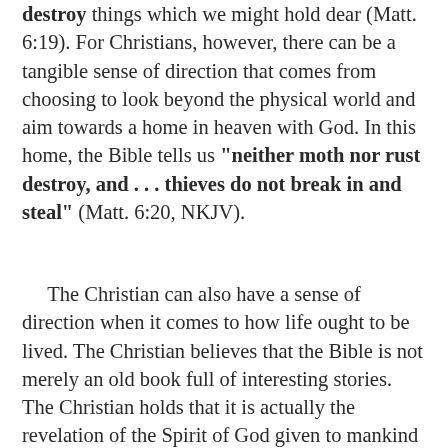destroy things which we might hold dear (Matt. 6:19). For Christians, however, there can be a tangible sense of direction that comes from choosing to look beyond the physical world and aim towards a home in heaven with God. In this home, the Bible tells us "neither moth nor rust destroy, and . . . thieves do not break in and steal" (Matt. 6:20, NKJV).
The Christian can also have a sense of direction when it comes to how life ought to be lived. The Christian believes that the Bible is not merely an old book full of interesting stories. The Christian holds that it is actually the revelation of the Spirit of God given to mankind for his guidance and direction. When the Christian submits himself to it's rule, he allows himself to be led by the very word of God. This leads to